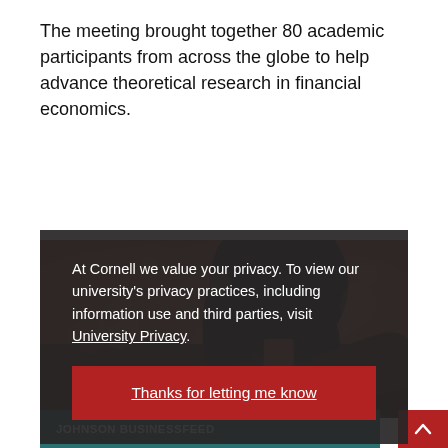The meeting brought together 80 academic participants from across the globe to help advance theoretical research in financial economics.
[Figure (photo): Photo of a person with dark hair at what appears to be an academic conference or meeting, shot from behind/side angle with warm blurred background showing other attendees.]
At Cornell we value your privacy. To view our university's privacy practices, including information use and third parties, visit University Privacy.
Thanks for letting me know
JOHNSON BUSINESSFEED